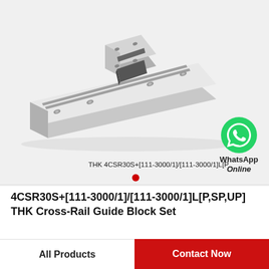[Figure (photo): THK linear guide rail with carriage block - a metallic silver linear motion guide rail set at an angle, showing a rectangular carriage block mounted on the rail with mounting holes visible. Background is light gray.]
THK 4CSR30S+[111-3000/1]/[111-3000/1]L[P
WhatsApp Online
4CSR30S+[111-3000/1]/[111-3000/1]L[P,SP,UP] THK Cross-Rail Guide Block Set
All Products
Contact Now